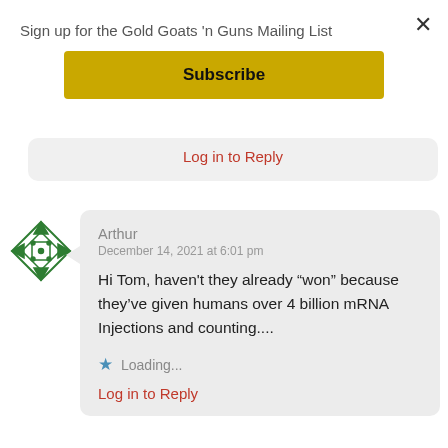Sign up for the Gold Goats 'n Guns Mailing List
Subscribe
Log in to Reply
Arthur
December 14, 2021 at 6:01 pm

Hi Tom, haven't they already “won” because they’ve given humans over 4 billion mRNA Injections and counting....
Loading...
Log in to Reply